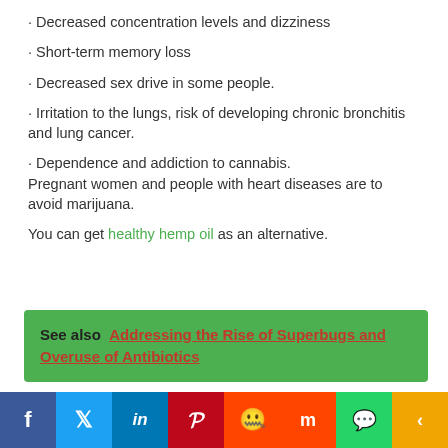· Decreased concentration levels and dizziness
· Short-term memory loss
· Decreased sex drive in some people.
· Irritation to the lungs, risk of developing chronic bronchitis and lung cancer.
· Dependence and addiction to cannabis. Pregnant women and people with heart diseases are to avoid marijuana.
You can get healthy hemp oil as an alternative.
See also  Addressing the Rise of Superbugs and Overuse of Antibiotics